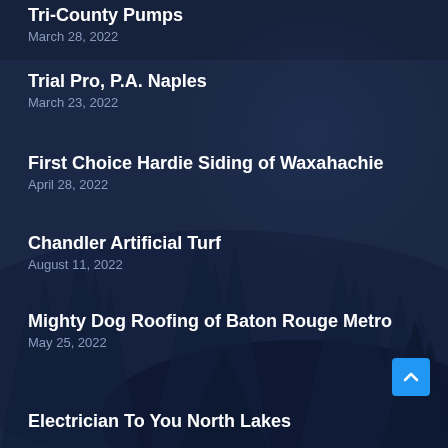Tri-County Pumps
March 28, 2022
Trial Pro, P.A. Naples
March 23, 2022
First Choice Hardie Siding of Waxahachie
April 28, 2022
Chandler Artificial Turf
August 11, 2022
Mighty Dog Roofing of Baton Rouge Metro
May 25, 2022
Electrician To You North Lakes